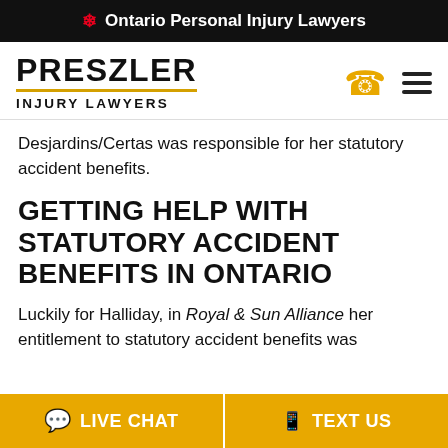🍁 Ontario Personal Injury Lawyers
[Figure (logo): Preszler Injury Lawyers logo with gold underline, phone icon, and hamburger menu icon]
Desjardins/Certas was responsible for her statutory accident benefits.
GETTING HELP WITH STATUTORY ACCIDENT BENEFITS IN ONTARIO
Luckily for Halliday, in Royal & Sun Alliance her entitlement to statutory accident benefits was
LIVE CHAT   TEXT US